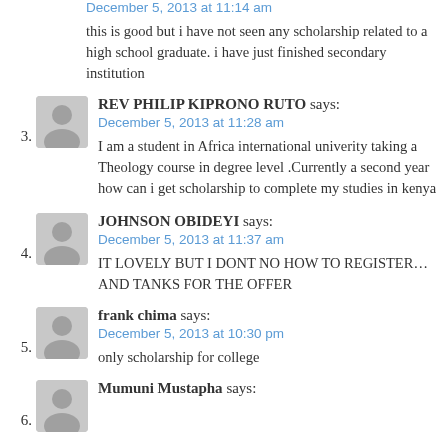December 5, 2013 at 11:14 am
this is good but i have not seen any scholarship related to a high school graduate. i have just finished secondary institution
3. REV PHILIP KIPRONO RUTO says: December 5, 2013 at 11:28 am — I am a student in Africa international univerity taking a Theology course in degree level .Currently a second year how can i get scholarship to complete my studies in kenya
4. JOHNSON OBIDEYI says: December 5, 2013 at 11:37 am — IT LOVELY BUT I DONT NO HOW TO REGISTER…AND TANKS FOR THE OFFER
5. frank chima says: December 5, 2013 at 10:30 pm — only scholarship for college
6. Mumuni Mustapha says: